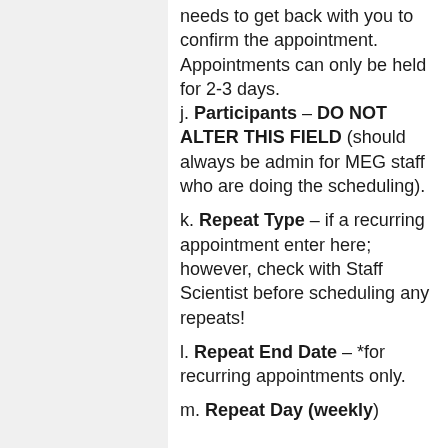needs to get back with you to confirm the appointment. Appointments can only be held for 2-3 days.
j. Participants – DO NOT ALTER THIS FIELD (should always be admin for MEG staff who are doing the scheduling).
k. Repeat Type – if a recurring appointment enter here; however, check with Staff Scientist before scheduling any repeats!
l. Repeat End Date – *for recurring appointments only.
m. Repeat Day (weekly)